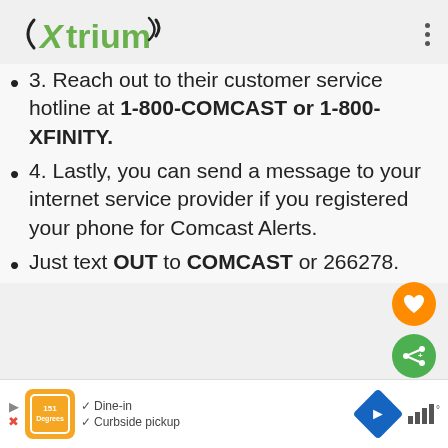[Figure (logo): Xtrium logo with signal/wifi arc in green and black, top left. Three vertical dots menu icon top right.]
3. Reach out to their customer service hotline at 1-800-COMCAST or 1-800-XFINITY.
4. Lastly, you can send a message to your internet service provider if you registered your phone for Comcast Alerts.
Just text OUT to COMCAST or 266278.
[Figure (screenshot): Ad bar at bottom with restaurant logo, Dine-in and Curbside pickup checkmarks, navigation diamond icon, and signal bars with degree symbol.]